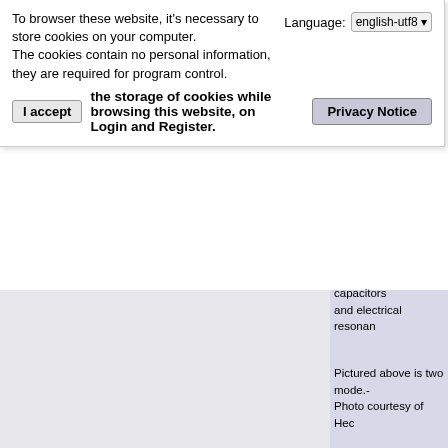To browser these website, it's necessary to store cookies on your computer.
The cookies contain no personal information, they are required for program control.
I accept the storage of cookies while browsing this website, on Login and Register.
Language: english-utf8
Privacy Notice
capacitors
and electrical resonan
Pictured above is two mode.-
Photo courtesy of Hec
On the *right side* of the figure
showing an out put of figure
exceeds the input current amps* of
current needed to sustain the
electrical to mechanical
From this picture one operating